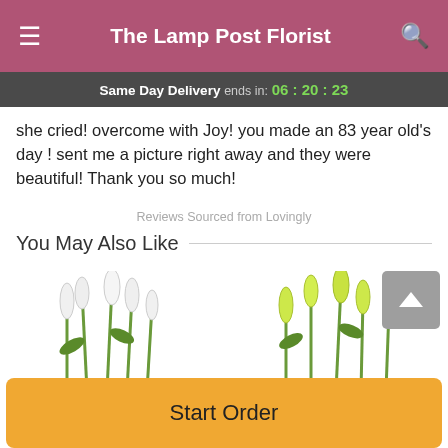The Lamp Post Florist
Same Day Delivery ends in: 06 : 20 : 23
she cried! overcome with Joy! you made an 83 year old's day ! sent me a picture right away and they were beautiful! Thank you so much!
Reviews Sourced from Lovingly
You May Also Like
[Figure (photo): Two flower arrangement product images side by side — white snapdragons on the left, yellow-green snapdragons on the right]
Start Order